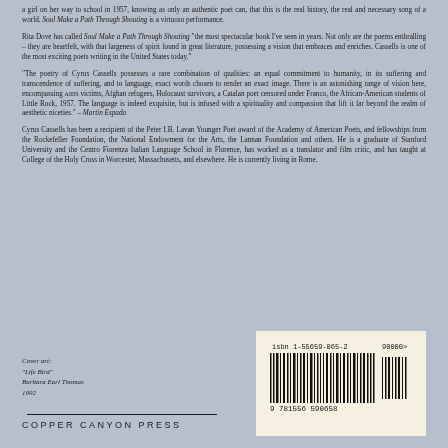a girl on her way to school in 1957, knowing as only an authentic poet can, that this is the real history, the real and necessary song of a world. Soul Make a Path Through Shouting is a virtuoso performance.
Rita Dove has called Soul Make a Path Through Shouting "the most spectacular book I've seen in years. Not only are the poems enthralling – they are heartfelt, with that largeness of spirit found in great literature, possessing a vision that embraces and enriches. Cassells is one of the most exciting poets writing in the United States today."
"The poetry of Cyrus Cassells possesses a rare combination of qualities: an equal commitment to humanity, in its suffering and transcendence of suffering, and to language, exact words chosen to render an exact image. There is an astonishing range of vision here, encompassing AIDS victims, Afghan refugees, Holocaust survivors, a Catalan poet censored under Franco, the African-American students of Little Rock, 1957. The language is indeed exquisite, but is infused with a spirituality and compassion that lift it far beyond the realm of aesthetic niceties." – Martin Espada
Cyrus Cassells has been a recipient of the Peter I.B. Lavan Younger Poet award of the Academy of American Poets, and fellowships from the Rockefeller Foundation, the National Endowment for the Arts, the Lannan Foundation and others. He is a graduate of Stanford University and the Centro Fiorenza Italian Language School in Florence, has worked as a translator and film critic, and has taught at College of the Holy Cross in Worcester, Massachusetts, and elsewhere. He is currently living in Rome.
Cover art:
"Life Bird"
Barbara Earl Thomas
1992
[Figure (other): ISBN barcode with number 9781556590658, ISBN 1-55659-065-2, price 90000]
COPPER CANYON PRESS